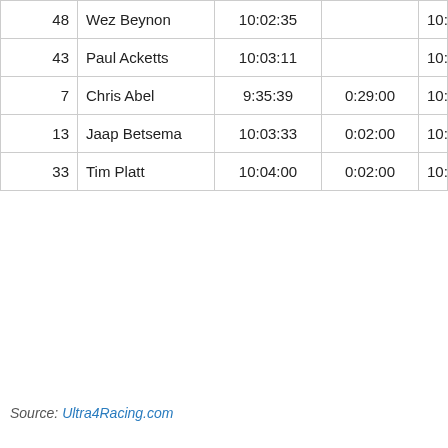| 48 | Wez Beynon | 10:02:35 |  | 10:02:35 |
| 43 | Paul Acketts | 10:03:11 |  | 10:03:11 |
| 7 | Chris Abel | 9:35:39 | 0:29:00 | 10:04:39 |
| 13 | Jaap Betsema | 10:03:33 | 0:02:00 | 10:05:33 |
| 33 | Tim Platt | 10:04:00 | 0:02:00 | 10:06:00 |
Source: Ultra4Racing.com